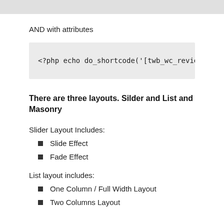[Figure (screenshot): Gray top bar at the top of the page, partial content from previous section]
AND with attributes
There are three layouts. Silder and List and Masonry
Slider Layout Includes:
Slide Effect
Fade Effect
List layout includes:
One Column / Full Width Layout
Two Columns Layout